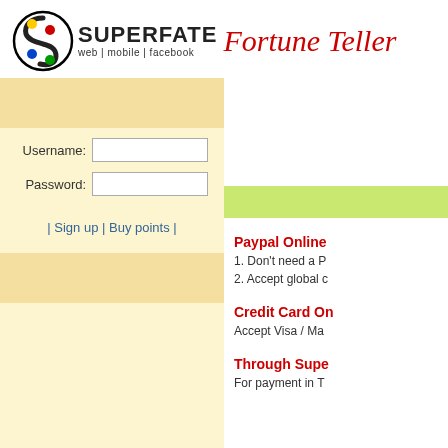[Figure (logo): Superfate Fortune Teller logo with colorful S icon, SUPERFATE text and 'web | mobile | facebook' subtext, and italic red 'Fortune Teller' script]
Username:
Password:
| Sign up | Buy points |
Paypal Online
1. Don't need a P
2. Accept global c
Credit Card On
Accept Visa / Ma
Through Supe
For payment in T